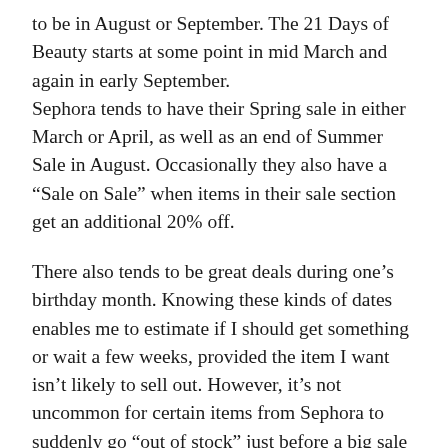to be in August or September. The 21 Days of Beauty starts at some point in mid March and again in early September.
Sephora tends to have their Spring sale in either March or April, as well as an end of Summer Sale in August. Occasionally they also have a “Sale on Sale” when items in their sale section get an additional 20% off.
There also tends to be great deals during one’s birthday month. Knowing these kinds of dates enables me to estimate if I should get something or wait a few weeks, provided the item I want isn’t likely to sell out. However, it’s not uncommon for certain items from Sephora to suddenly go “out of stock” just before a big sale and end up returning during the last few days of the sale. When that happens, make sure to select the option to be notified when the product is back in stock.